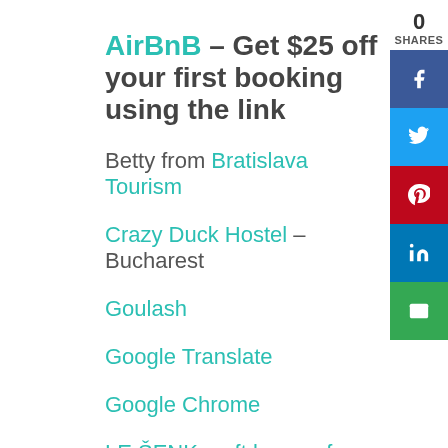AirBnB – Get $25 off your first booking using the link
Betty from Bratislava Tourism
Crazy Duck Hostel – Bucharest
Goulash
Google Translate
Google Chrome
LE ŠENK craft beer cafe